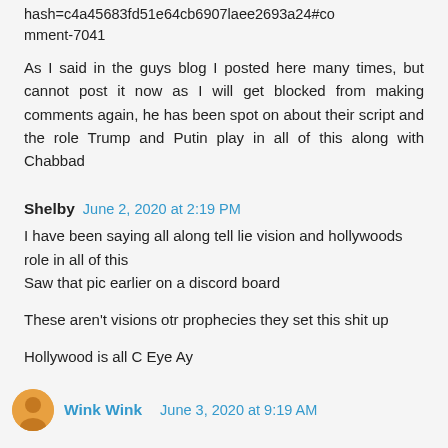hash=c4a45683fd51e64cb6907laee2693a24#comment-7041
As I said in the guys blog I posted here many times, but cannot post it now as I will get blocked from making comments again, he has been spot on about their script and the role Trump and Putin play in all of this along with Chabbad
Shelby June 2, 2020 at 2:19 PM
I have been saying all along tell lie vision and hollywoods role in all of this
Saw that pic earlier on a discord board
These aren't visions otr prophecies they set this shit up
Hollywood is all C Eye Ay
Wink Wink June 3, 2020 at 9:19 AM